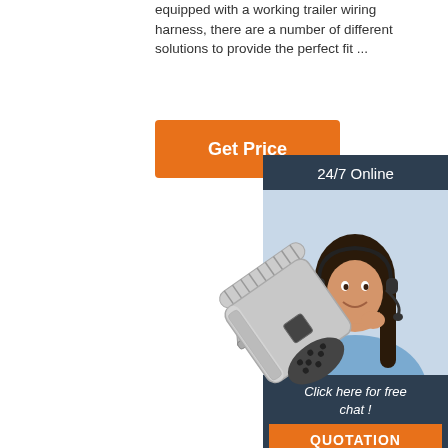equipped with a working trailer wiring harness, there are a number of different solutions to provide the perfect fit ...
[Figure (other): Orange 'Get Price' button]
[Figure (infographic): 24/7 Online customer support sidebar with photo of woman with headset, 'Click here for free chat!' text, and orange QUOTATION button]
[Figure (photo): Photo of a metal trailer plug/connector with spring coil cable]